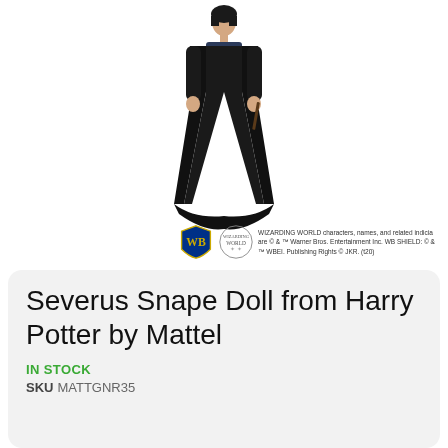[Figure (photo): Product photo of a Severus Snape doll wearing a long black robe over a dark navy suit, holding a wand, displayed against a white background. A Wizarding World / Warner Bros. copyright logo and text appear at the bottom right of the image area.]
Severus Snape Doll from Harry Potter by Mattel
IN STOCK
SKU  MATTGNR35